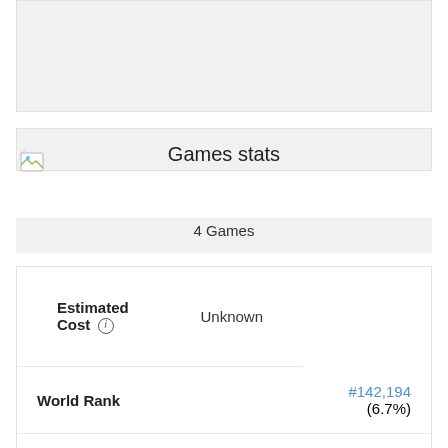[Figure (other): Gray placeholder box at the top of the page]
Games stats
[Figure (other): Broken/missing image icon in the stats section]
4 Games
| Label | Value |
| --- | --- |
| Estimated Cost ⓘ | Unknown |
| World Rank | #142,194 (6.7%) |
| Region Rank | #5,137 (12.8%) |
| Country Rank | #3,631 (13.9%) |
| Best World Rank ⓘ | #142,194 |